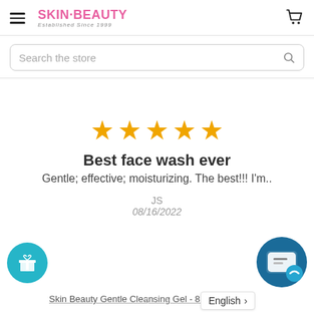SKIN-BEAUTY Established Since 1999
Search the store
[Figure (other): Five gold/orange star rating icons]
Best face wash ever
Gentle; effective; moisturizing. The best!!! I'm..
JS
08/16/2022
Skin Beauty Gentle Cleansing Gel - 8 oz
English >